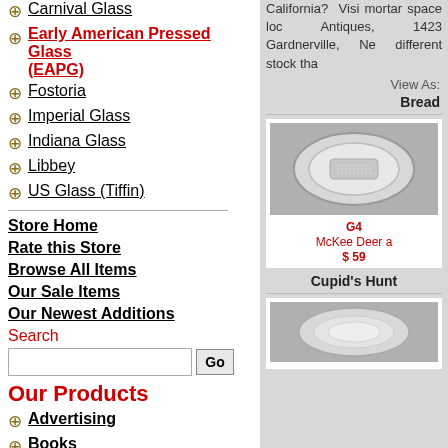Carnival Glass
Early American Pressed Glass (EAPG)
Fostoria
Imperial Glass
Indiana Glass
Libbey
US Glass (Tiffin)
Store Home
Rate this Store
Browse All Items
Our Sale Items
Our Newest Additions
Search
Our Products
Advertising
Books
Character Related Collectibles
China and Dinnerware
Comics
Cookie Jars
California? Visi mortar space loc Antiques, 1423 Gardnerville, Ne different stock tha
View As:
Bread
[Figure (photo): Product photo of a glass dish, McKee Deer pattern]
G4
McKee Deer a
$ 59
Cupid's Hunt
[Figure (photo): Product photo of another glass item]